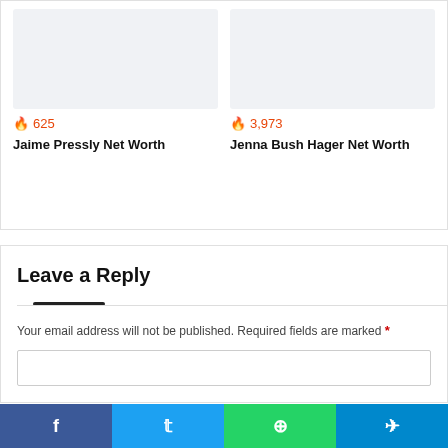[Figure (photo): Placeholder image for Jaime Pressly Net Worth article card]
🔥 625
Jaime Pressly Net Worth
[Figure (photo): Placeholder image for Jenna Bush Hager Net Worth article card]
🔥 3,973
Jenna Bush Hager Net Worth
Leave a Reply
Your email address will not be published. Required fields are marked *